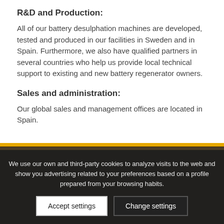R&D and Production:
All of our battery desulphation machines are developed, tested and produced in our facilities in Sweden and in Spain. Furthermore, we also have qualified partners in several countries who help us provide local technical support to existing and new battery regenerator owners.
Sales and administration:
Our global sales and management offices are located in Spain.
We use our own and third-party cookies to analyze visits to the web and show you advertising related to your preferences based on a profile prepared from your browsing habits.
Accept settings | Change settings